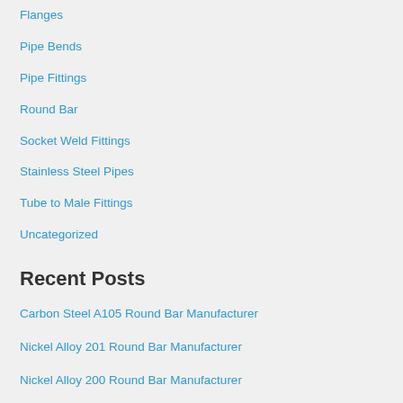Flanges
Pipe Bends
Pipe Fittings
Round Bar
Socket Weld Fittings
Stainless Steel Pipes
Tube to Male Fittings
Uncategorized
Recent Posts
Carbon Steel A105 Round Bar Manufacturer
Nickel Alloy 201 Round Bar Manufacturer
Nickel Alloy 200 Round Bar Manufacturer
Monel Alloy K500 Round Bar Manufacturer